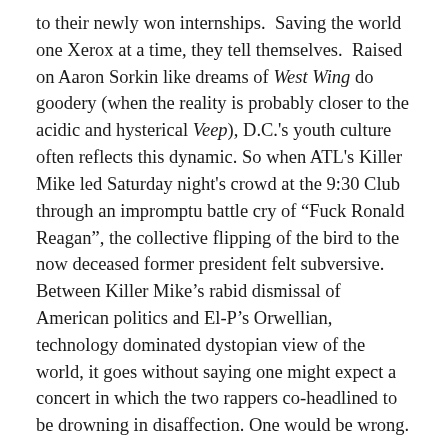to their newly won internships.  Saving the world one Xerox at a time, they tell themselves.  Raised on Aaron Sorkin like dreams of West Wing do goodery (when the reality is probably closer to the acidic and hysterical Veep), D.C.'s youth culture often reflects this dynamic. So when ATL's Killer Mike led Saturday night's crowd at the 9:30 Club through an impromptu battle cry of “Fuck Ronald Reagan”, the collective flipping of the bird to the now deceased former president felt subversive.  Between Killer Mike’s rabid dismissal of American politics and El-P’s Orwellian, technology dominated dystopian view of the world, it goes without saying one might expect a concert in which the two rappers co-headlined to be drowning in disaffection. One would be wrong.
At this point everybody knows about El-P and Killer Mike’s triumphant 2012. Both put out well-received albums, each appeared on the others work, and to top it off El-P produced Killer Mike’s R.A.P. Music. Such is...